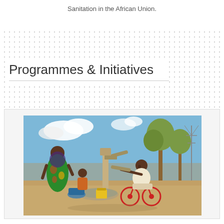Sanitation in the African Union.
Programmes & Initiatives
[Figure (photo): Outdoor water pump scene. On the left, a woman in colourful patterned dress and a young child in patterned clothing stand near a hand pump with yellow and blue containers. On the right, a man in a wheelchair pumps water from the same pump. Background shows dry grass, trees, and a power line tower under a blue sky with clouds.]